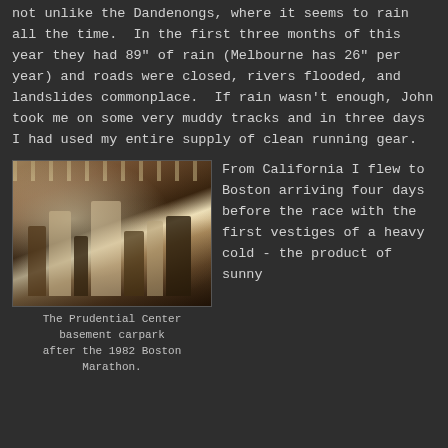not unlike the Dandenongs, where it seems to rain all the time.  In the first three months of this year they had 89" of rain (Melbourne has 26" per year) and roads were closed, rivers flooded, and landslides commonplace.  If rain wasn't enough, John took me on some very muddy tracks and in three days I had used my entire supply of clean running gear.
[Figure (photo): Indoor photograph showing people in what appears to be a large basement carpark or hall, with bright overhead lighting, taken with vintage film camera characteristics. The scene shows runners or athletes after the 1982 Boston Marathon at the Prudential Center basement carpark.]
The Prudential Center basement carpark after the 1982 Boston Marathon.
From California I flew to Boston arriving four days before the race with the first vestiges of a heavy cold - the product of sunny...